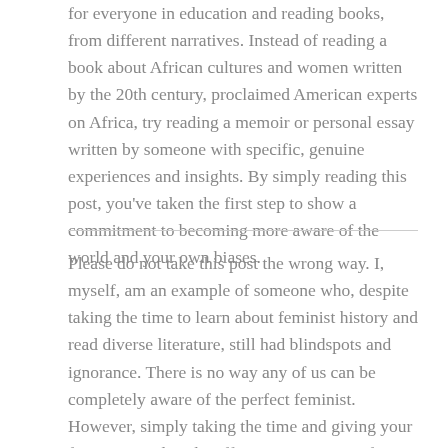for everyone in education and reading books, from different narratives. Instead of reading a book about African cultures and women written by the 20th century, proclaimed American experts on Africa, try reading a memoir or personal essay written by someone with specific, genuine experiences and insights. By simply reading this post, you've taken the first step to show a commitment to becoming more aware of the world and your own biases.
Please do not take this post the wrong way. I, myself, am an example of someone who, despite taking the time to learn about feminist history and read diverse literature, still had blindspots and ignorance. There is no way any of us can be completely aware of the perfect feminist. However, simply taking the time and giving your feminist mindset the effort to grow, is proof enough that you are an intersectional feminist.